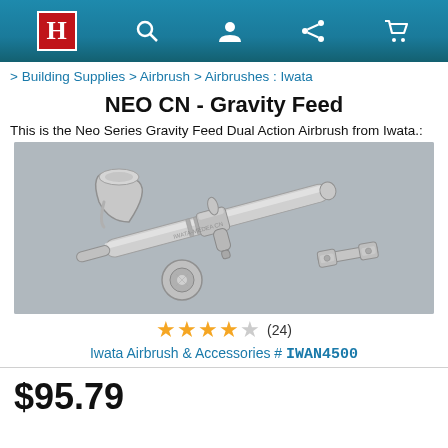H [search] [account] [share] [cart]
> Building Supplies > Airbrush > Airbrushes : Iwata
NEO CN - Gravity Feed
This is the Neo Series Gravity Feed Dual Action Airbrush from Iwata.:
[Figure (photo): Photo of Iwata NEO CN Gravity Feed airbrush with cup, needle cap, and wrench accessory on gray background]
★★★★☆ (24)
Iwata Airbrush & Accessories # IWAN4500
$95.79